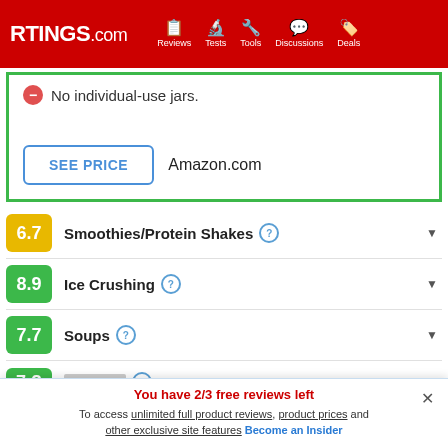RTINGS.com — Reviews, Tests, Tools, Discussions, Deals
No individual-use jars.
SEE PRICE  Amazon.com
6.7  Smoothies/Protein Shakes
8.9  Ice Crushing
7.7  Soups
You have 2/3 free reviews left
To access unlimited full product reviews, product prices and other exclusive site features Become an Insider